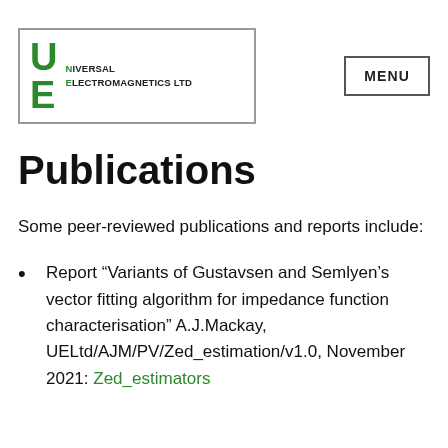[Figure (logo): Universal Electromagnetics Ltd logo with green U and E letters in a bordered box]
Publications
Some peer-reviewed publications and reports include:
Report “Variants of Gustavsen and Semlyen’s vector fitting algorithm for impedance function characterisation” A.J.Mackay, UELtd/AJM/PV/Zed_estimation/v1.0, November 2021: Zed_estimators